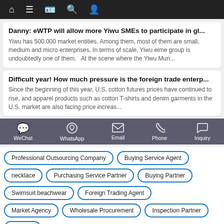Navigation bar with home, menu, card, search, profile icons
Danny: eWTP will allow more Yiwu SMEs to participate in gl...
Yiwu has 500,000 market entities. Among them, most of them are small, medium and micro enterprises. In terms of scale, Yiwu eime group is undoubtedly one of them.   At the scene where the Yiwu Mun...
Difficult year! How much pressure is the foreign trade enterp...
Since the beginning of this year, U.S. cotton futures prices have continued to rise, and apparel products such as cotton T-shirts and denim garments in the U.S. market are also facing price increas...
[Figure (infographic): Contact bar with WeChat, WhatsApp, Email, Phone, Inquiry icons]
Professional Outsourcing Company
Buying Service Agent
necklace
Purchasing Service Partner
Buying Partner
Swimsuit beachwear
Foreign Trading Agent
Market Agency
Wholesale Procurement
Inspection Partner
watches